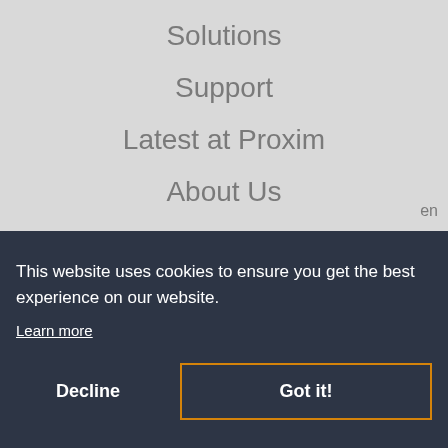Solutions
Support
Latest at Proxim
About Us
Contact Us
Privacy Policy
This website uses cookies to ensure you get the best experience on our website. Learn more
Decline
Got it!